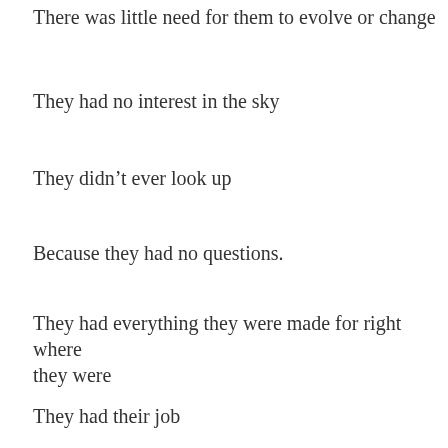There was little need for them to evolve or change
They had no interest in the sky
They didn’t ever look up
Because they had no questions.
They had everything they were made for right where they were
They had their job
They had their security
They had their purpose
They were satisfied